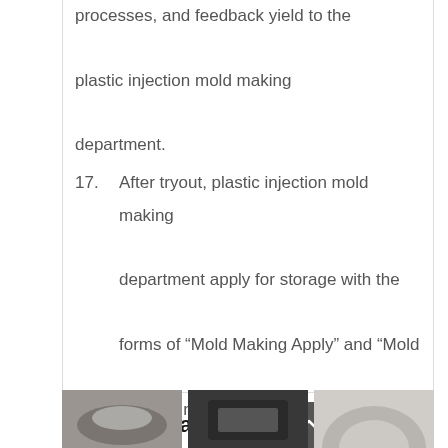processes, and feedback yield to the plastic injection mold making department.
17. After tryout, plastic injection mold making department apply for storage with the forms of “Mold Making Apply” and “Mold Making Inspection”. and then arrange the shipment as soon as possible.
Popular Molds
[Figure (photo): Three photos of popular molds shown at the bottom of the page]